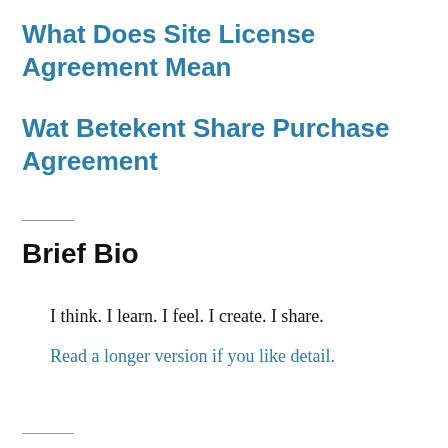What Does Site License Agreement Mean
Wat Betekent Share Purchase Agreement
Brief Bio
I think. I learn. I feel. I create. I share.
Read a longer version if you like detail.